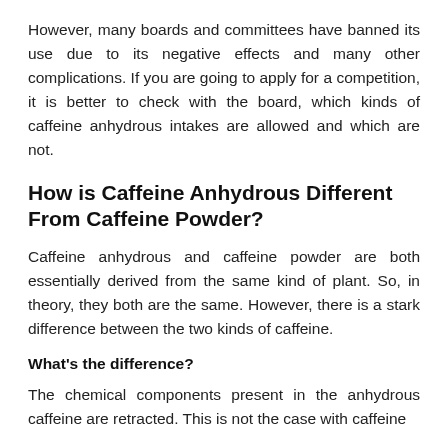However, many boards and committees have banned its use due to its negative effects and many other complications. If you are going to apply for a competition, it is better to check with the board, which kinds of caffeine anhydrous intakes are allowed and which are not.
How is Caffeine Anhydrous Different From Caffeine Powder?
Caffeine anhydrous and caffeine powder are both essentially derived from the same kind of plant. So, in theory, they both are the same. However, there is a stark difference between the two kinds of caffeine.
What's the difference?
The chemical components present in the anhydrous caffeine are retracted. This is not the case with caffeine